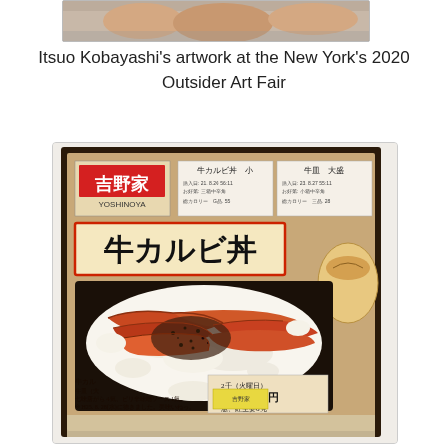[Figure (photo): Top portion of a photo showing hands or person at top of page, partially cropped]
Itsuo Kobayashi's artwork at the New York's 2020 Outsider Art Fair
[Figure (photo): Artwork by Itsuo Kobayashi depicting a Yoshinoya beef bowl restaurant food packaging/receipt artwork, showing hand-drawn illustration of gyukarbi don (beef rib bowl) with Japanese text and Yoshinoya branding]